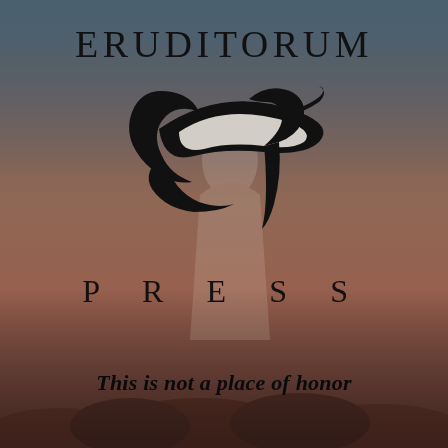[Figure (logo): Eruditorum Press logo page with stylized EP monogram logo on a muted atmospheric background of warm rose and grey tones. Contains the text ERUDITORUM at top, the EP logo emblem in the center, PRESS below it, and the tagline 'This is not a place of honor' at the bottom.]
ERUDITORUM
PRESS
This is not a place of honor